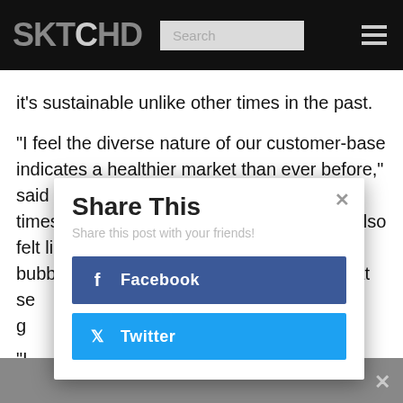SKTCHD
it's sustainable unlike other times in the past.
“I feel the diverse nature of our customer-base indicates a healthier market than ever before,” said Thompson. “Although there have been times when money was flowing in more, it also felt like we were always on the cusp of a bubble. Now we’re in a new Golden Age that se... g...
[Figure (screenshot): Share This modal dialog with Facebook and Twitter share buttons, overlaying article text. Close button (x) in top-right. Subtitle: 'Share this post with your friends!']